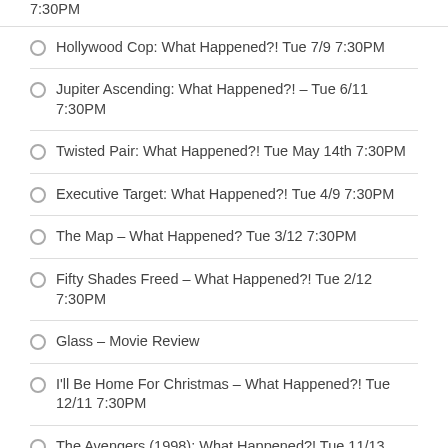7:30PM
Hollywood Cop: What Happened?! Tue 7/9 7:30PM
Jupiter Ascending: What Happened?! – Tue 6/11 7:30PM
Twisted Pair: What Happened?! Tue May 14th 7:30PM
Executive Target: What Happened?! Tue 4/9 7:30PM
The Map – What Happened? Tue 3/12 7:30PM
Fifty Shades Freed – What Happened?! Tue 2/12 7:30PM
Glass – Movie Review
I'll Be Home For Christmas – What Happened?! Tue 12/11 7:30PM
The Avengers (1998): What Happened?! Tue 11/13 7:30PM